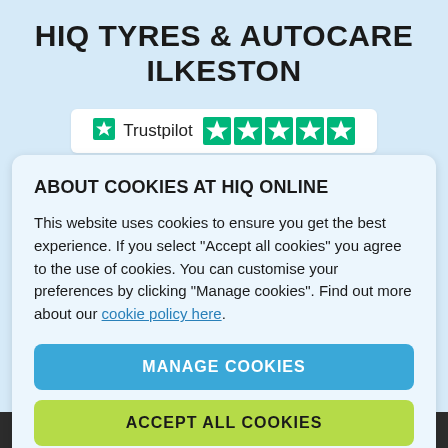HiQ TYRES & AUTOCARE ILKESTON
[Figure (logo): Trustpilot logo with 5 green stars rating badge]
ABOUT COOKIES AT HiQ ONLINE
This website uses cookies to ensure you get the best experience. If you select "Accept all cookies" you agree to the use of cookies. You can customise your preferences by clicking "Manage cookies". Find out more about our cookie policy here.
MANAGE COOKIES
ACCEPT ALL COOKIES